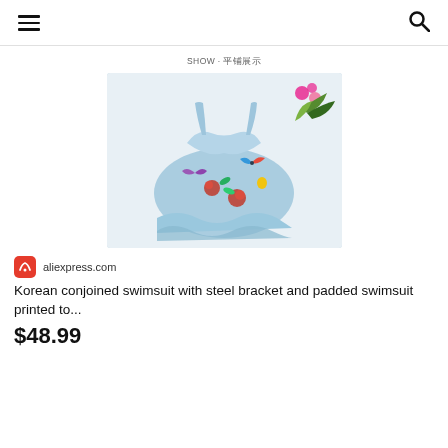≡  🔍
SHOW · 平铺展示
[Figure (photo): A light blue floral printed one-piece swimsuit laid flat on a white surface, with pink flowers and green leaves in the upper right corner]
aliexpress.com
Korean conjoined swimsuit with steel bracket and padded swimsuit printed to...
$48.99